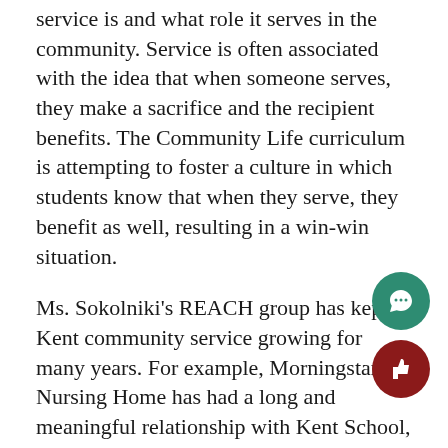service is and what role it serves in the community. Service is often associated with the idea that when someone serves, they make a sacrifice and the recipient benefits. The Community Life curriculum is attempting to foster a culture in which students know that when they serve, they benefit as well, resulting in a win-win situation.
Ms. Sokolniki's REACH group has kept Kent community service growing for many years. For example, Morningstar Nursing Home has had a long and meaningful relationship with Kent School, and the food bank has been substantially touched by the Kent community over the years.
In fact, May 13th and 14th will be days where there will be an opportunity to give everybody a chance serve the community in a wide variety of ways. O of th will be field day for local children to come b